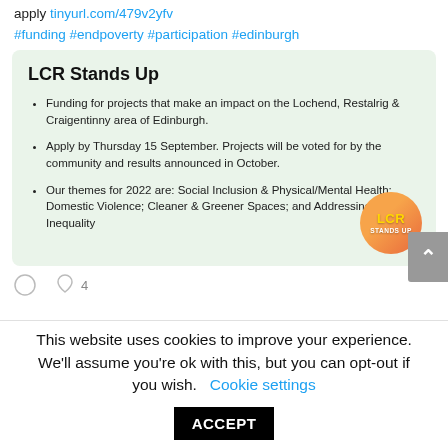apply tinyurl.com/479v2yfv
#funding #endpoverty #participation #edinburgh
[Figure (infographic): LCR Stands Up funding card with light green background, bullet points about funding for Lochend, Restalrig & Craigentinny area of Edinburgh, application deadline Thursday 15 September, themes for 2022, and LCR Stands Up circular logo bottom right.]
This website uses cookies to improve your experience. We'll assume you're ok with this, but you can opt-out if you wish. Cookie settings ACCEPT